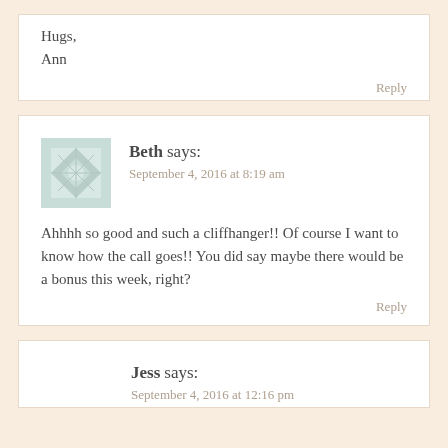Hugs,
Ann
Reply
Beth says:
September 4, 2016 at 8:19 am
Ahhhh so good and such a cliffhanger!! Of course I want to know how the call goes!! You did say maybe there would be a bonus this week, right?
Reply
Jess says:
September 4, 2016 at 12:16 pm